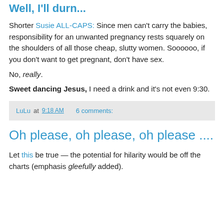Well, I'll durn...
Shorter Susie ALL-CAPS: Since men can't carry the babies, responsibility for an unwanted pregnancy rests squarely on the shoulders of all those cheap, slutty women. Soooooo, if you don't want to get pregnant, don't have sex.
No, really.
Sweet dancing Jesus, I need a drink and it's not even 9:30.
LuLu at 9:18 AM    6 comments:
Oh please, oh please, oh please ....
Let this be true — the potential for hilarity would be off the charts (emphasis gleefully added).